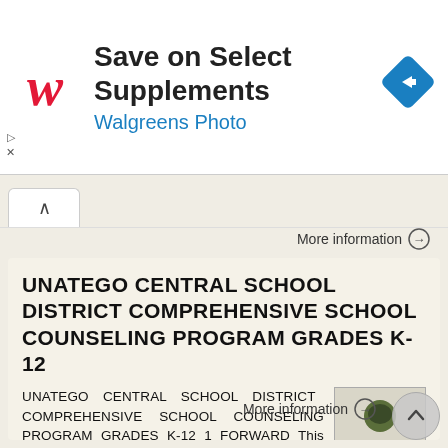[Figure (screenshot): Walgreens advertisement banner: Walgreens cursive 'W' logo on left, text 'Save on Select Supplements' and 'Walgreens Photo' in blue, blue diamond arrow icon on right]
UNATEGO CENTRAL SCHOOL DISTRICT COMPREHENSIVE SCHOOL COUNSELING PROGRAM GRADES K-12
UNATEGO CENTRAL SCHOOL DISTRICT COMPREHENSIVE SCHOOL COUNSELING PROGRAM GRADES K-12 1 FORWARD This Comprehensive School Counseling Program acts as a manual for counselors, administrators and school board
More information →
More information →